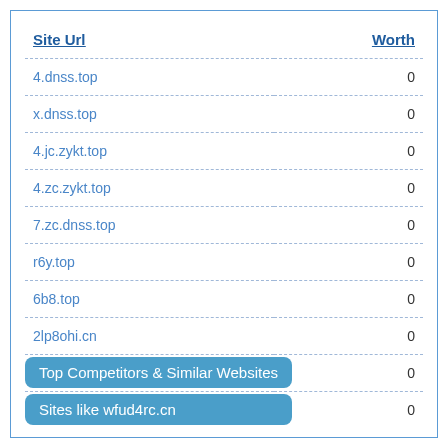| Site Url | Worth |
| --- | --- |
| 4.dnss.top | 0 |
| x.dnss.top | 0 |
| 4.jc.zykt.top | 0 |
| 4.zc.zykt.top | 0 |
| 7.zc.dnss.top | 0 |
| r6y.top | 0 |
| 6b8.top | 0 |
| 2lp8ohi.cn | 0 |
| 6b9.top | 0 |
| vn58oww.cn | 0 |
Top Competitors & Similar Websites
Sites like wfud4rc.cn